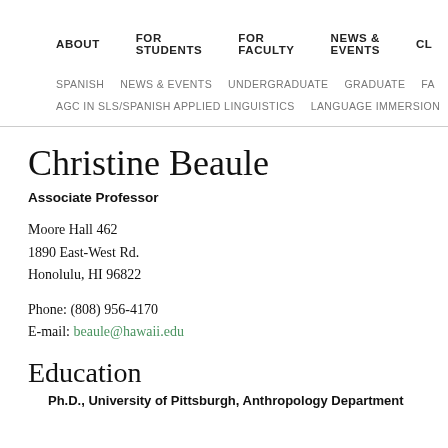ABOUT | FOR STUDENTS | FOR FACULTY | NEWS & EVENTS | CL...
SPANISH  NEWS & EVENTS  UNDERGRADUATE  GRADUATE  FA...
AGC IN SLS/SPANISH APPLIED LINGUISTICS  LANGUAGE IMMERSION...
Christine Beaule
Associate Professor
Moore Hall 462
1890 East-West Rd.
Honolulu, HI 96822
Phone: (808) 956-4170
E-mail: beaule@hawaii.edu
Education
Ph.D., University of Pittsburgh, Anthropology Department